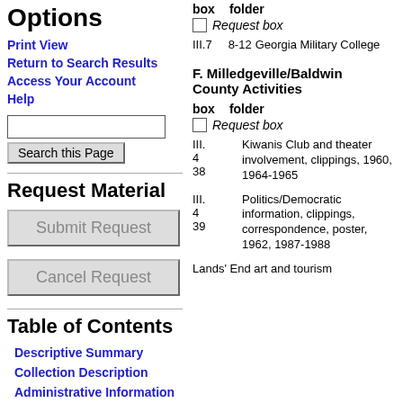Options
Print View
Return to Search Results
Access Your Account
Help
Request Material
Submit Request
Cancel Request
Table of Contents
Descriptive Summary
Collection Description
Administrative Information
box  folder
Request box
III.7  8-12  Georgia Military College
F. Milledgeville/Baldwin County Activities
box  folder
Request box
III.4  38  Kiwanis Club and theater involvement, clippings, 1960, 1964-1965
III.4  39  Politics/Democratic information, clippings, correspondence, poster, 1962, 1987-1988
Lands' End art and tourism